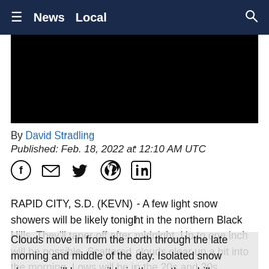≡  News  Local
[Figure (photo): Black video/image placeholder block]
By David Stradling
Published: Feb. 18, 2022 at 12:10 AM UTC
[Figure (infographic): Social share icons: Facebook, Email, Twitter, Pinterest, LinkedIn]
RAPID CITY, S.D. (KEVN) - A few light snow showers will be likely tonight in the northern Black Hills. They'll taper off after midnight. Up to one inch will be possible. Scattered clouds clear up a bit into the morning. Lows will be in the 20s and 30s.
Clouds move in from the north through the late morning and middle of the day. Isolated snow showers will be possible in the northern hills once again. Temperatures will